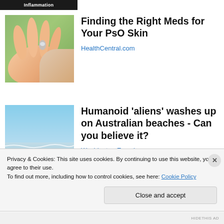Inflammation
[Figure (photo): Close-up of a hand holding a small pill or drop, with green background]
Finding the Right Meds for Your PsO Skin
HealthCentral.com
[Figure (photo): Beach scene with ocean waves and blue sky]
Humanoid 'aliens' washes up on Australian beaches - Can you believe it?
Washington Examiner
Privacy & Cookies: This site uses cookies. By continuing to use this website, you agree to their use.
To find out more, including how to control cookies, see here: Cookie Policy
Close and accept